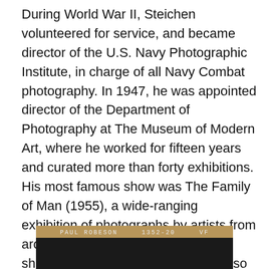During World War II, Steichen volunteered for service, and became director of the U.S. Navy Photographic Institute, in charge of all Navy Combat photography. In 1947, he was appointed director of the Department of Photography at The Museum of Modern Art, where he worked for fifteen years and curated more than forty exhibitions. His most famous show was The Family of Man (1955), a wide-ranging exhibition of photographs by artists from around the world linked together a shared human experience. MoMA also mounted an exhibition of Steichen's own work in 1961, the year before he retired. In 1963 President John F. Kennedy presented Steichen with the Presidential Medal of Freedom, the highest honor the government bestows to a civilian.
[Figure (photo): Bottom portion of a photograph strip showing 'PAUL ROBESON 1352-20 VF' text on a dark film negative or contact sheet]